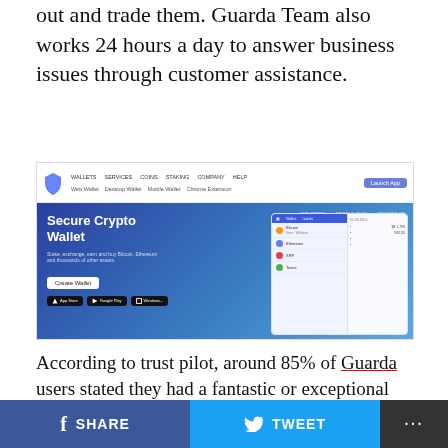out and trade them. Guarda Team also works 24 hours a day to answer business issues through customer assistance.
[Figure (screenshot): Screenshot of the Guarda Wallet website showing the navigation bar with WALLETS, SERVICES, COINS, STAKING, COMPANY, HELP links, and a hero section with 'Secure Crypto Wallet' heading, app store ratings (App Store 4.2, Google Play 4.3, TrustPilot 4.6), Create Wallet button, and store download buttons.]
According to trust pilot, around 85% of Guarda users stated they had a fantastic or exceptional experience with the service, while 9% of users indicated they had a poor experience.
SHARE   TWEET   ...